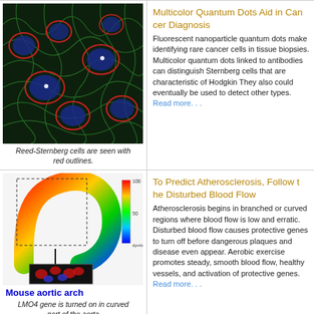[Figure (photo): Fluorescence microscopy image showing Reed-Sternberg cells with red outlines on a green and blue cellular background]
Reed-Sternberg cells are seen with red outlines.
Multicolor Quantum Dots Aid in Cancer Diagnosis
Fluorescent nanoparticle quantum dots make ideal tools for identifying rare cancer cells in tissue biopsies. Multicolor quantum dots linked to antibodies can distinguish Reed-Sternberg cells that are characteristic of Hodgkin lymphoma. They also could eventually be used to detect other cancer types. Read more. . .
[Figure (illustration): Illustration of mouse aortic arch showing LMO4 gene expression in curved part, with color-coded stress map (dyn/cm2) and microscopy inset showing cells]
LMO4 gene is turned on in curved part of the aorta
To Predict Atherosclerosis, Follow the Disturbed Blood Flow
Atherosclerosis begins in branched or curved regions where blood flow is low and erratic. Disturbed blood flow causes protective genes to turn off before dangerous plaques and disease even appear. Aerobic exercise promotes steady, smooth blood flow, healthy vessels, and activation of protective genes.
Read more. . .
[Figure (illustration): Diagram showing LINE-1-RNA export from nucleus, transcription, translation to L1ORF1p]
"Jumping Genes" Are a Common, B... Instability